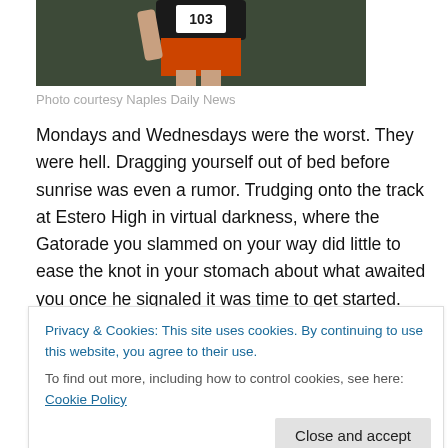[Figure (photo): Photo of a runner wearing orange shorts and a dark numbered jersey, running on a track]
Photo courtesy Naples Daily News
Mondays and Wednesdays were the worst. They were hell. Dragging yourself out of bed before sunrise was even a rumor. Trudging onto the track at Estero High in virtual darkness, where the Gatorade you slammed on your way did little to ease the knot in your stomach about what awaited you once he signaled it was time to get started.
Jeff Sommer called it “Speed Work.” Pure agony would
Privacy & Cookies: This site uses cookies. By continuing to use this website, you agree to their use.
To find out more, including how to control cookies, see here: Cookie Policy
nonstop full-throated rasp – the one that betrayed his West